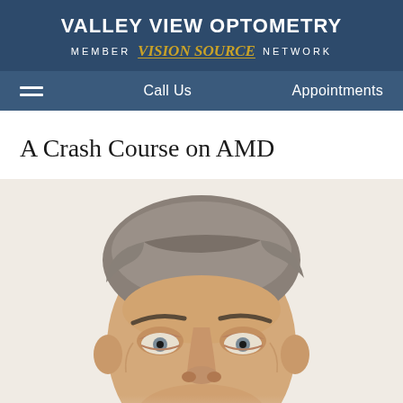VALLEY VIEW OPTOMETRY MEMBER Vision Source NETWORK
Call Us | Appointments
A Crash Course on AMD
[Figure (photo): Close-up photo of an older man with grey hair, showing the top half of his face including forehead, eyes, and nose. The man appears to be middle-aged to older, with grey-brown hair and blue-grey eyes, looking slightly to the side.]